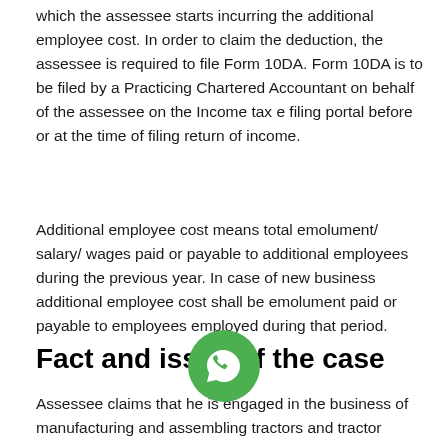which the assessee starts incurring the additional employee cost. In order to claim the deduction, the assessee is required to file Form 10DA. Form 10DA is to be filed by a Practicing Chartered Accountant on behalf of the assessee on the Income tax e filing portal before or at the time of filing return of income.
Additional employee cost means total emolument/ salary/ wages paid or payable to additional employees during the previous year. In case of new business additional employee cost shall be emolument paid or payable to employees employed during that period.
Fact and issue of the case
Assessee claims that he is engaged in the business of manufacturing and assembling tractors and tractor
[Figure (illustration): WhatsApp button icon — green circle with white WhatsApp phone handset logo]